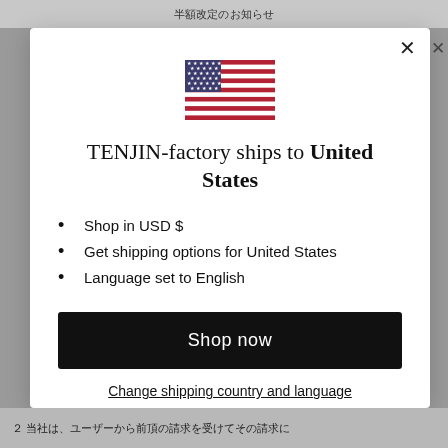半額改定のお知らせ
[Figure (illustration): US flag icon — stars and stripes, rectangular]
TENJIN-factory ships to United States
Shop in USD $
Get shipping options for United States
Language set to English
Shop now
Change shipping country and language
２ 当社は、ユーザーから前頂の請求を受けてその請求に